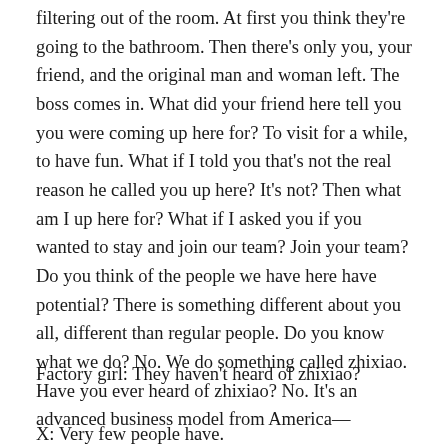filtering out of the room. At first you think they're going to the bathroom. Then there's only you, your friend, and the original man and woman left. The boss comes in. What did your friend here tell you you were coming up here for? To visit for a while, to have fun. What if I told you that's not the real reason he called you up here? It's not? Then what am I up here for? What if I asked you if you wanted to stay and join our team? Join your team? Do you think of the people we have here have potential? There is something different about you all, different than regular people. Do you know what we do? No. We do something called zhixiao. Have you ever heard of zhixiao? No. It's an advanced business model from America—
Factory girl: They haven't heard of zhixiao?
X: Very few people have.